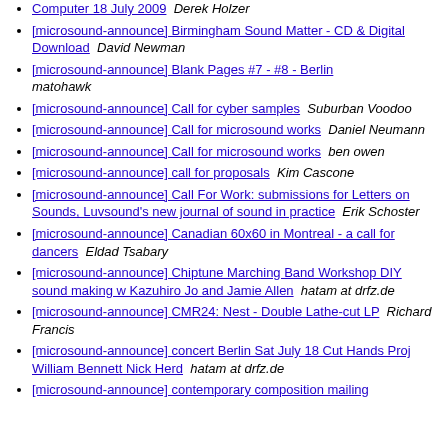Computer 18 July 2009  Derek Holzer
[microsound-announce] Birmingham Sound Matter - CD & Digital Download  David Newman
[microsound-announce] Blank Pages #7 - #8 - Berlin  matohawk
[microsound-announce] Call for cyber samples  Suburban Voodoo
[microsound-announce] Call for microsound works  Daniel Neumann
[microsound-announce] Call for microsound works  ben owen
[microsound-announce] call for proposals  Kim Cascone
[microsound-announce] Call For Work: submissions for Letters on Sounds, Luvsound's new journal of sound in practice  Erik Schoster
[microsound-announce] Canadian 60x60 in Montreal - a call for dancers  Eldad Tsabary
[microsound-announce] Chiptune Marching Band Workshop DIY sound making w Kazuhiro Jo and Jamie Allen  hatam at drfz.de
[microsound-announce] CMR24: Nest - Double Lathe-cut LP  Richard Francis
[microsound-announce] concert Berlin Sat July 18 Cut Hands Proj William Bennett Nick Herd  hatam at drfz.de
[microsound-announce] contemporary composition mailing